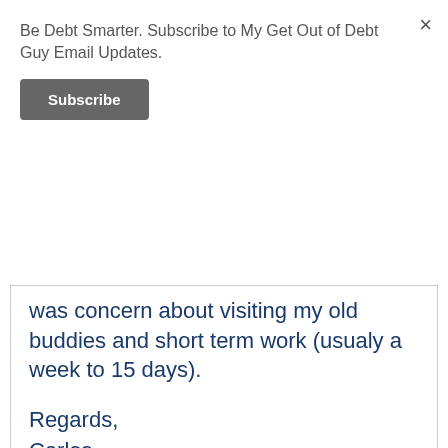Be Debt Smarter. Subscribe to My Get Out of Debt Guy Email Updates.
Subscribe
×
was concern about visiting my old buddies and short term work (usualy a week to 15 days).
Regards,
Carlos
Reply